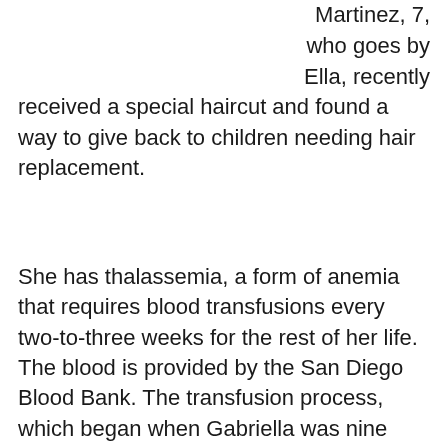Martinez, 7, who goes by Ella, recently received a special haircut and found a way to give back to children needing hair replacement.
She has thalassemia, a form of anemia that requires blood transfusions every two-to-three weeks for the rest of her life. The blood is provided by the San Diego Blood Bank. The transfusion process, which began when Gabriella was nine months old, typically lasts about eight hours over two days at Rady Children's